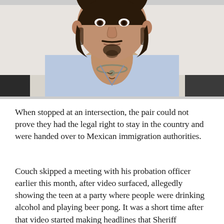[Figure (photo): Mugshot or arrest photo of a young man with dark hair and a goatee, wearing an open light blue button-up shirt, photographed indoors against a light background with chairs visible.]
When stopped at an intersection, the pair could not prove they had the legal right to stay in the country and were handed over to Mexican immigration authorities.
Couch skipped a meeting with his probation officer earlier this month, after video surfaced, allegedly showing the teen at a party where people were drinking alcohol and playing beer pong. It was a short time after that video started making headlines that Sheriff Anderson said Couch and his mother